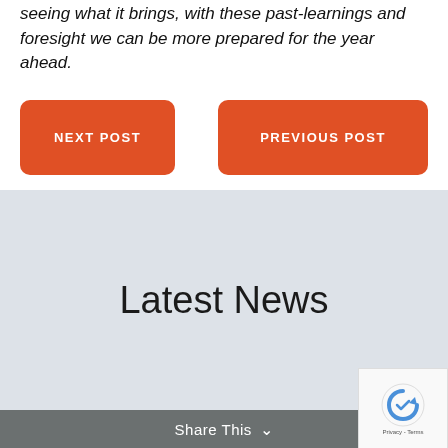seeing what it brings, with these past-learnings and foresight we can be more prepared for the year ahead.
NEXT POST
PREVIOUS POST
Latest News
Share This